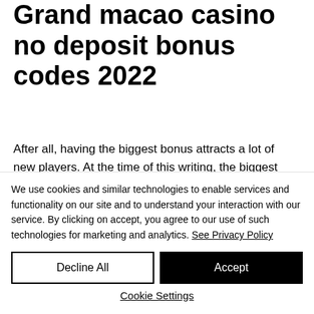Grand macao casino no deposit bonus codes 2022
After all, having the biggest bonus attracts a lot of new players. At the time of this writing, the biggest welcome bonus is offered by Parimatch Casino. Check it out below! Biggest casino welcome bonus in India, grand macao casino no deposit bonus codes 2022
We use cookies and similar technologies to enable services and functionality on our site and to understand your interaction with our service. By clicking on accept, you agree to our use of such technologies for marketing and analytics. See Privacy Policy
Decline All
Accept
Cookie Settings